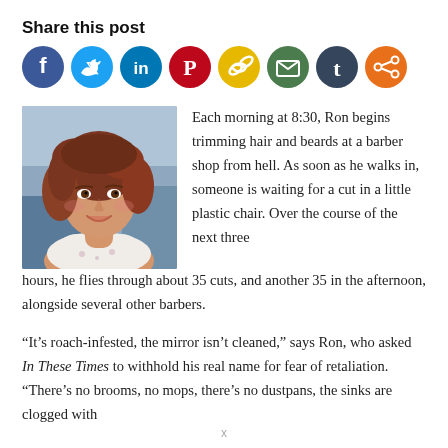Share this post
[Figure (infographic): Row of 8 social media share buttons as colored circles: Facebook (blue), Twitter (light blue), LinkedIn (blue), Pinterest (red), Copy link (yellow), Email (green), Tumblr (dark blue), Share (orange)]
[Figure (photo): Portrait photo of a young woman with reddish-brown curly hair, smiling, wearing a floral top, outdoors]
Each morning at 8:30, Ron begins trimming hair and beards at a barber shop from hell. As soon as he walks in, someone is waiting for a cut in a little plastic chair. Over the course of the next three hours, he flies through about 35 cuts, and another 35 in the afternoon, alongside several other barbers.
“It’s roach-infested, the mirror isn’t cleaned,” says Ron, who asked In These Times to withhold his real name for fear of retaliation. “There’s no brooms, no mops, there’s no dustpans, the sinks are clogged with